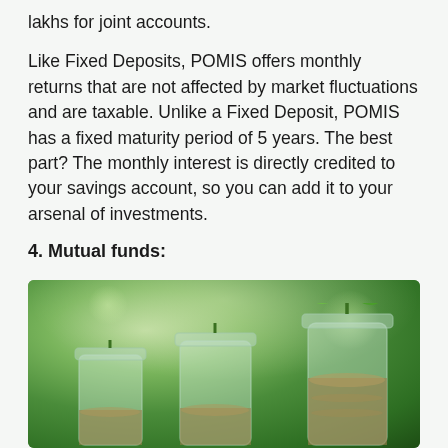lakhs for joint accounts.
Like Fixed Deposits, POMIS offers monthly returns that are not affected by market fluctuations and are taxable. Unlike a Fixed Deposit, POMIS has a fixed maturity period of 5 years. The best part? The monthly interest is directly credited to your savings account, so you can add it to your arsenal of investments.
4. Mutual funds:
[Figure (photo): Three glass jars filled with coins, each with a small green plant growing out of the top, set against a blurred green bokeh background — symbolizing financial growth through investments.]